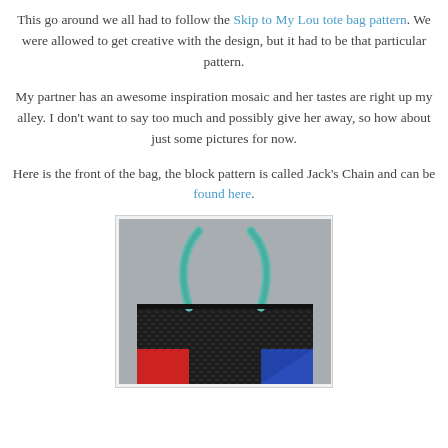This go around we all had to follow the Skip to My Lou tote bag pattern. We were allowed to get creative with the design, but it had to be that particular pattern.
My partner has an awesome inspiration mosaic and her tastes are right up my alley. I don't want to say too much and possibly give her away, so how about just some pictures for now.
Here is the front of the bag, the block pattern is called Jack's Chain and can be found here.
[Figure (photo): Photo of the front of a handmade tote bag with a Jack's Chain quilt block pattern on the front. The bag has teal/aqua handles and features red, blue, and black/white patterned fabric panels.]